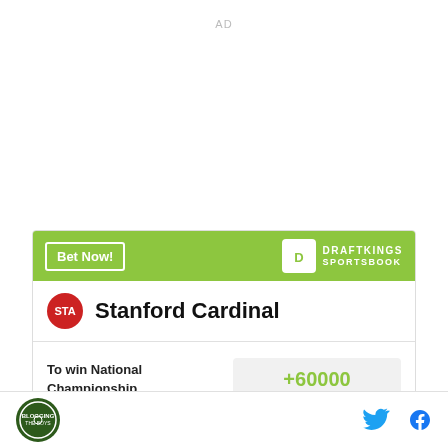AD
[Figure (infographic): DraftKings Sportsbook widget showing Stanford Cardinal betting odds. Bet Now button in header. Stanford Cardinal with STA badge. To win National Championship: +60000. To win Pac-12: +9000.]
Site logo and social sharing icons (Twitter, Facebook)